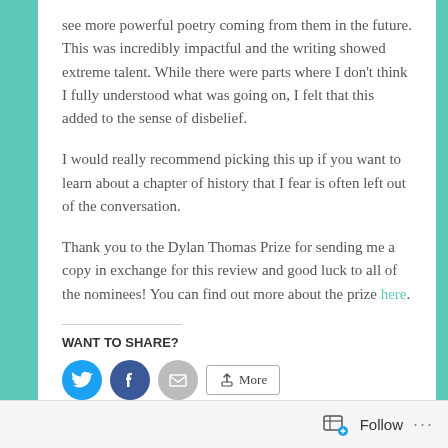see more powerful poetry coming from them in the future. This was incredibly impactful and the writing showed extreme talent. While there were parts where I don't think I fully understood what was going on, I felt that this added to the sense of disbelief.
I would really recommend picking this up if you want to learn about a chapter of history that I fear is often left out of the conversation.
Thank you to the Dylan Thomas Prize for sending me a copy in exchange for this review and good luck to all of the nominees! You can find out more about the prize here.
WANT TO SHARE?
[Figure (infographic): Social share buttons: Twitter (blue circle with bird icon), Facebook (dark blue circle with f icon), Email (grey circle with envelope icon), and a More button with share icon]
Follow  ...